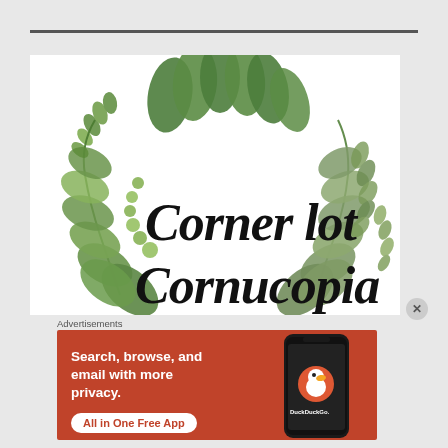[Figure (illustration): Corner Lot Cornucopia logo with watercolor green leafy wreath arch and cursive black text reading 'Corner Lot Cornucopia']
Advertisements
[Figure (infographic): DuckDuckGo advertisement banner with orange background. Text: 'Search, browse, and email with more privacy. All in One Free App'. Shows a smartphone illustration with DuckDuckGo duck logo and 'DuckDuckGo.' text.]